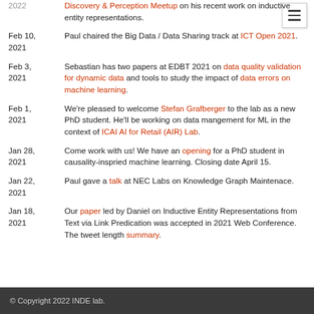2022 Discovery & Perception Meetup on his recent work on inductive entity representations.
Feb 10, 2021 — Paul chaired the Big Data / Data Sharing track at ICT Open 2021.
Feb 3, 2021 — Sebastian has two papers at EDBT 2021 on data quality validation for dynamic data and tools to study the impact of data errors on machine learning.
Feb 1, 2021 — We're pleased to welcome Stefan Grafberger to the lab as a new PhD student. He'll be working on data mangement for ML in the context of ICAI AI for Retail (AIR) Lab.
Jan 28, 2021 — Come work with us! We have an opening for a PhD student in causality-inspried machine learning. Closing date April 15.
Jan 22, 2021 — Paul gave a talk at NEC Labs on Knowledge Graph Maintenace.
Jan 18, 2021 — Our paper led by Daniel on Inductive Entity Representations from Text via Link Predication was accepted in 2021 Web Conference. The tweet length summary.
© Copyright 2022 INDE lab.